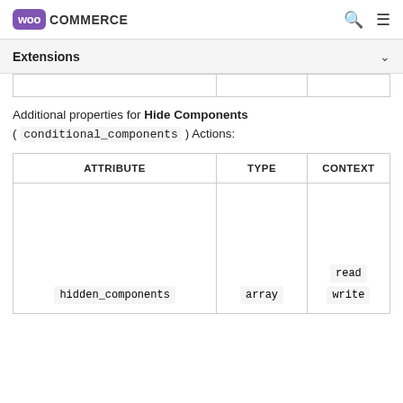WooCommerce
Extensions
Additional properties for Hide Components ( conditional_components ) Actions:
| ATTRIBUTE | TYPE | CONTEXT |
| --- | --- | --- |
| hidden_components | array | read
write |